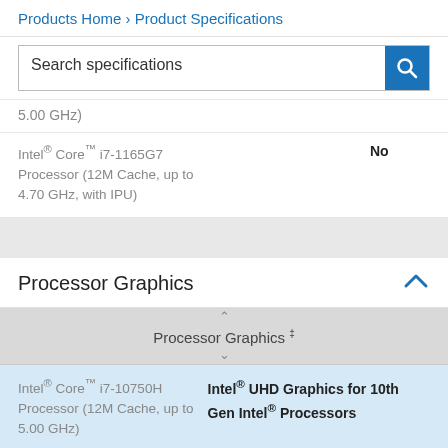Products Home › Product Specifications
Search specifications
5.00 GHz)
Intel® Core™ i7-1165G7 Processor (12M Cache, up to 4.70 GHz, with IPU)	No
Processor Graphics
| Processor Graphics ‡ |
| --- |
Intel® Core™ i7-10750H Processor (12M Cache, up to 5.00 GHz)	Intel® UHD Graphics for 10th Gen Intel® Processors